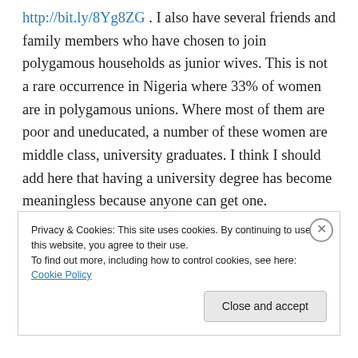http://bit.ly/8Yg8ZG . I also have several friends and family members who have chosen to join polygamous households as junior wives. This is not a rare occurrence in Nigeria where 33% of women are in polygamous unions. Where most of them are poor and uneducated, a number of these women are middle class, university graduates. I think I should add here that having a university degree has become meaningless because anyone can get one.
Privacy & Cookies: This site uses cookies. By continuing to use this website, you agree to their use. To find out more, including how to control cookies, see here: Cookie Policy